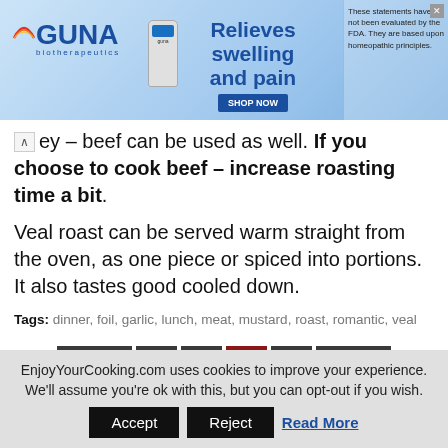[Figure (other): GUNA biotherapeutics advertisement banner: logo on left, bottle image, 'Relieves swelling and pain' text center, SHOP NOW button, disclaimer text on right]
ey – beef can be used as well. If you choose to cook beef – increase roasting time a bit.
Veal roast can be served warm straight from the oven, as one piece or spiced into portions. It also tastes good cooled down.
Tags: dinner, foil, garlic, lunch, meat, mustard, roast, romantic, veal
Prev 1 2 3 4 Next
EnjoyYourCooking.com uses cookies to improve your experience. We'll assume you're ok with this, but you can opt-out if you wish. Accept Reject Read More